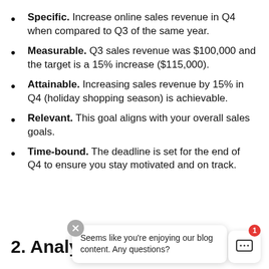Specific. Increase online sales revenue in Q4 when compared to Q3 of the same year.
Measurable. Q3 sales revenue was $100,000 and the target is a 15% increase ($115,000).
Attainable. Increasing sales revenue by 15% in Q4 (holiday shopping season) is achievable.
Relevant. This goal aligns with your overall sales goals.
Time-bound. The deadline is set for the end of Q4 to ensure you stay motivated and on track.
2. Analy…
[Figure (screenshot): Chat popup overlay with close button, message 'Seems like you're enjoying our blog content. Any questions?', and a chat icon box with badge showing 1.]